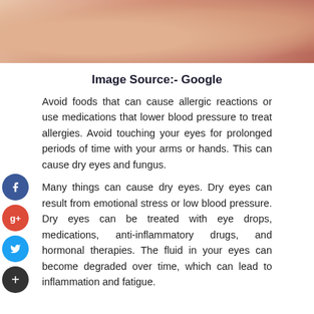[Figure (photo): Close-up photo of human skin around the eye area, showing texture and redness]
Image Source:- Google
Avoid foods that can cause allergic reactions or use medications that lower blood pressure to treat allergies. Avoid touching your eyes for prolonged periods of time with your arms or hands. This can cause dry eyes and fungus.
Many things can cause dry eyes. Dry eyes can result from emotional stress or low blood pressure. Dry eyes can be treated with eye drops, medications, anti-inflammatory drugs, and hormonal therapies. The fluid in your eyes can become degraded over time, which can lead to inflammation and fatigue.